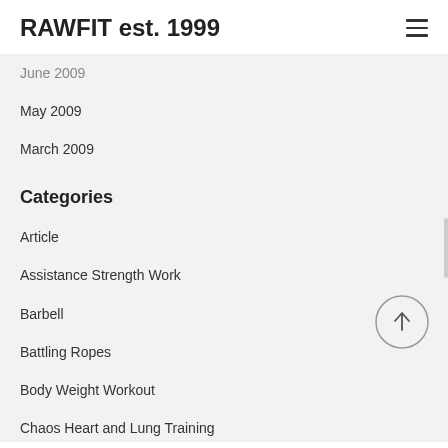RAWFIT est. 1999
June 2009
May 2009
March 2009
Categories
Article
Assistance Strength Work
Barbell
Battling Ropes
Body Weight Workout
Chaos Heart and Lung Training
Circuit Training